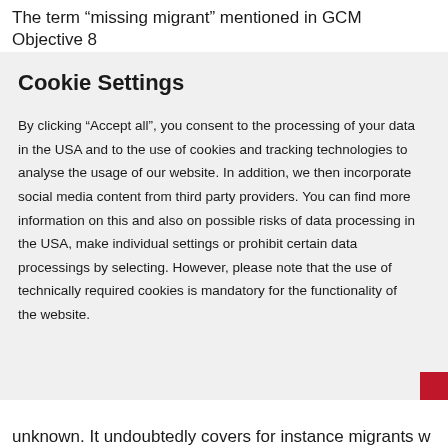The term “missing migrant” mentioned in GCM Objective 8
Cookie Settings
By clicking “Accept all”, you consent to the processing of your data in the USA and to the use of cookies and tracking technologies to analyse the usage of our website. In addition, we then incorporate social media content from third party providers. You can find more information on this and also on possible risks of data processing in the USA, make individual settings or prohibit certain data processings by selecting. However, please note that the use of technically required cookies is mandatory for the functionality of the website.
unknown. It undoubtedly covers for instance migrants w